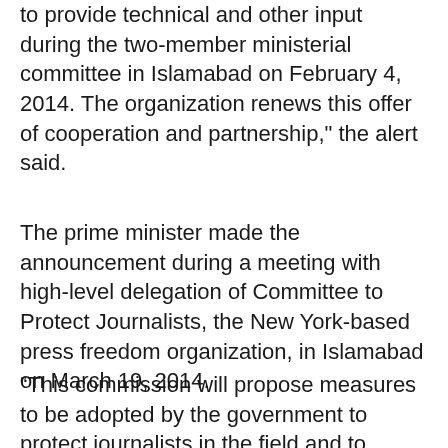to provide technical and other input during the two-member ministerial committee in Islamabad on February 4, 2014. The organization renews this offer of cooperation and partnership,” the alert said.
The prime minister made the announcement during a meeting with high-level delegation of Committee to Protect Journalists, the New York-based press freedom organization, in Islamabad on March 19, 2014.
“This commission will propose measures to be adopted by the government to protect journalists in the field and to ensure their wellbeing,” an official statement quoted Prime Minister Nawaz Sharif as saying. “This